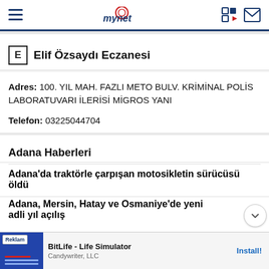mynet
E Elif Özsaydı Eczanesi
Adres: 100. YIL MAH. FAZLI METO BULV. KRİMİNAL POLİS LABORATUVARI İLERİSİ MİGROS YANI
Telefon: 03225044704
Adana Haberleri
Adana'da traktörle çarpışan motosikletin sürücüsü öldü
Adana, Mersin, Hatay ve Osmaniye'de yeni adli yıl açılış
[Figure (screenshot): Advertisement banner: BitLife - Life Simulator by Candywriter, LLC with Install button]